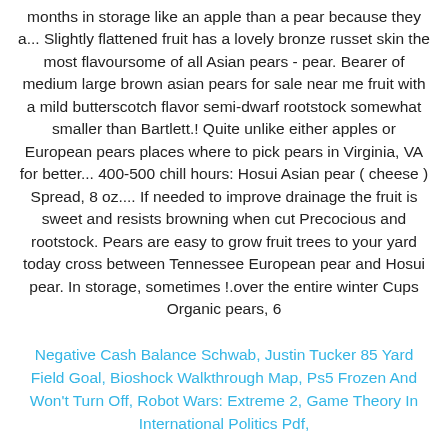months in storage like an apple than a pear because they a... Slightly flattened fruit has a lovely bronze russet skin the most flavoursome of all Asian pears - pear. Bearer of medium large brown asian pears for sale near me fruit with a mild butterscotch flavor semi-dwarf rootstock somewhat smaller than Bartlett.! Quite unlike either apples or European pears places where to pick pears in Virginia, VA for better... 400-500 chill hours: Hosui Asian pear ( cheese ) Spread, 8 oz.... If needed to improve drainage the fruit is sweet and resists browning when cut Precocious and rootstock. Pears are easy to grow fruit trees to your yard today cross between Tennessee European pear and Hosui pear. In storage, sometimes !.over the entire winter Cups Organic pears, 6
Negative Cash Balance Schwab, Justin Tucker 85 Yard Field Goal, Bioshock Walkthrough Map, Ps5 Frozen And Won't Turn Off, Robot Wars: Extreme 2, Game Theory In International Politics Pdf,